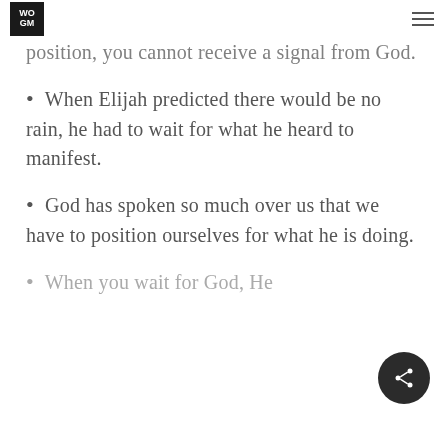WOGM
position, you cannot receive a signal from God.
When Elijah predicted there would be no rain, he had to wait for what he heard to manifest.
God has spoken so much over us that we have to position ourselves for what he is doing.
When you wait for God, He...